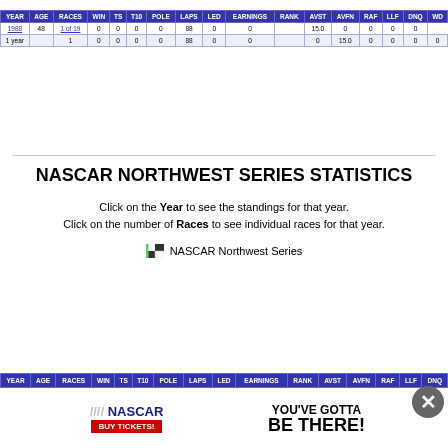| YEAR | AGE | RACES | WIN | TS | T10 | POLE | LAPS | LED | EARNINGS | RANK | AVST | AVFN | RAF | LLF | DNQ | WD |
| --- | --- | --- | --- | --- | --- | --- | --- | --- | --- | --- | --- | --- | --- | --- | --- | --- |
| 1988 | 48 | 1 of 19 | 0 | 0 | 0 | 0 | 88 | 0 | 0 |  | 15.0 | 0 | 0 | 0 | 0 |
| 1 year |  | 1 | 0 | 0 | 0 | 0 | 88 | 0 | 0 |  | 0 | 15.0 | 0 | 0 | 0 | 0 |
NASCAR NORTHWEST SERIES STATISTICS
Click on the Year to see the standings for that year.
Click on the number of Races to see individual races for that year.
NASCAR Northwest Series
| YEAR | AGE | RACES | WIN | TS | T10 | POLE | LAPS | LED | EARNINGS | RANK | AVST | AVFN | RAF | LLF | DNQ |
| --- | --- | --- | --- | --- | --- | --- | --- | --- | --- | --- | --- | --- | --- | --- | --- |